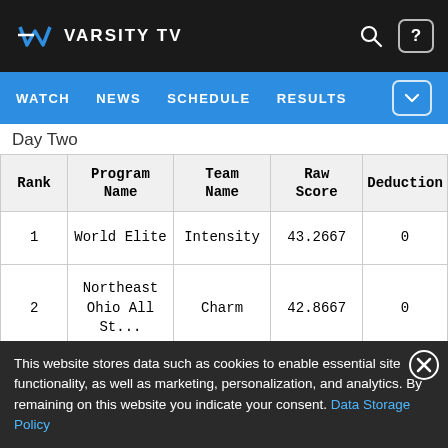VARSITY TV
WATCH  NEWS  SCHEDULE  RESULTS
Day Two
| Rank | Program Name | Team Name | Raw Score | Deductions |
| --- | --- | --- | --- | --- |
| 1 | World Elite | Intensity | 43.2667 | 0 |
| 2 | Northeast Ohio All St... | Charm | 42.8667 | 0 |
This website stores data such as cookies to enable essential site functionality, as well as marketing, personalization, and analytics. By remaining on this website you indicate your consent. Data Storage Policy